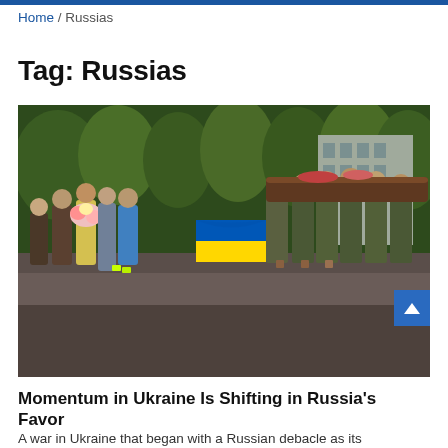Home / Russias
Tag: Russias
[Figure (photo): A funeral procession with soldiers in camouflage uniforms carrying a coffin draped with a Ukrainian flag (blue and yellow), surrounded by mourners, some holding flowers, on a tree-lined street.]
Momentum in Ukraine Is Shifting in Russia's Favor
A war in Ukraine that began with a Russian debacle as its